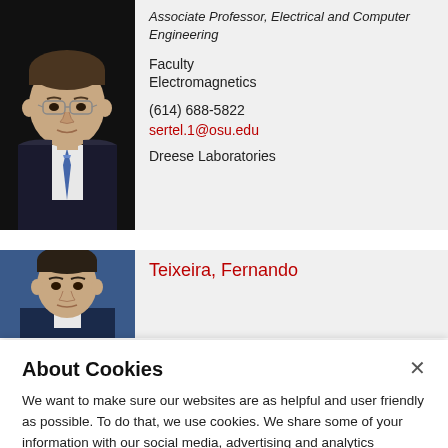[Figure (photo): Headshot of a male faculty member wearing glasses and a suit with tie, dark background]
Associate Professor, Electrical and Computer Engineering
Faculty
Electromagnetics
(614) 688-5822
sertel.1@osu.edu
Dreese Laboratories
[Figure (photo): Headshot of a male faculty member, dark hair, blue background]
Teixeira, Fernando
About Cookies
We want to make sure our websites are as helpful and user friendly as possible. To do that, we use cookies. We share some of your information with our social media, advertising and analytics partners.  Read our privacy statement
Review cookie settings
Accept cookies